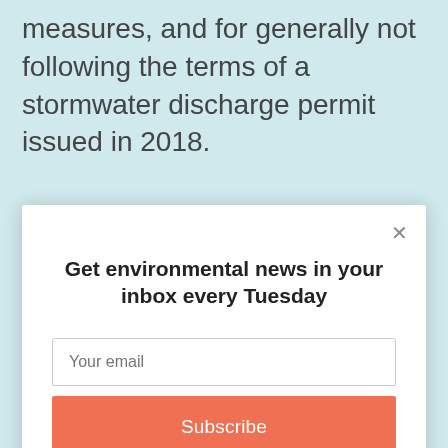measures, and for generally not following the terms of a stormwater discharge permit issued in 2018.
Get environmental news in your inbox every Tuesday
Your email
Subscribe